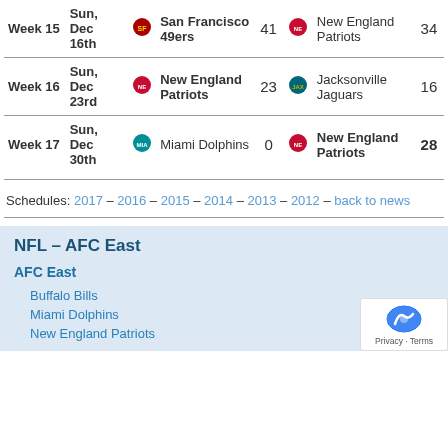| Week | Date |  | Team | Score |  | Team | Score |
| --- | --- | --- | --- | --- | --- | --- | --- |
| Week 15 | Sun, Dec 16th | [49ers logo] | San Francisco 49ers | 41 | [patriots logo] | New England Patriots | 34 |
| Week 16 | Sun, Dec 23rd | [patriots logo] | New England Patriots | 23 | [jaguars logo] | Jacksonville Jaguars | 16 |
| Week 17 | Sun, Dec 30th | [dolphins logo] | Miami Dolphins | 0 | [patriots logo] | New England Patriots | 28 |
Schedules: 2017 – 2016 – 2015 – 2014 – 2013 – 2012 – back to news
NFL – AFC East
AFC East
Buffalo Bills
Miami Dolphins
New England Patriots